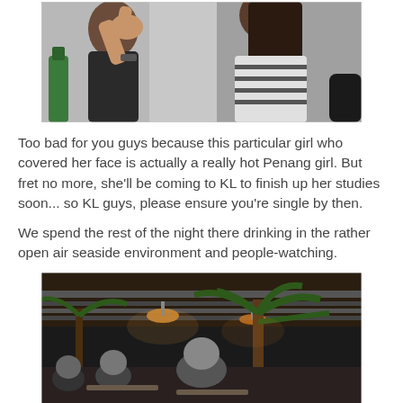[Figure (photo): A young woman covering her face with her hands, wearing a patterned top, at what appears to be a bar or nightclub setting. A green bottle is visible on the left.]
Too bad for you guys because this particular girl who covered her face is actually a really hot Penang girl. But fret no more, she'll be coming to KL to finish up her studies soon... so KL guys, please ensure you're single by then.

We spend the rest of the night there drinking in the rather open air seaside environment and people-watching.
[Figure (photo): An outdoor open-air seaside bar or restaurant at night with palm trees, hanging lights, and people sitting at tables.]